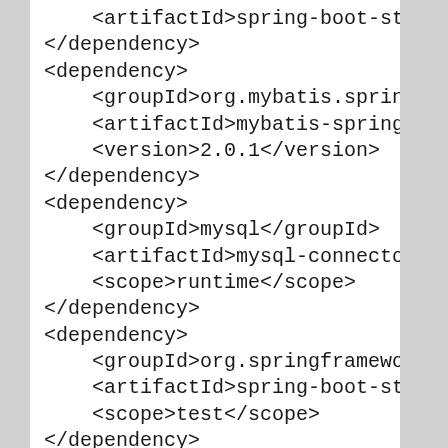<artifactId>spring-boot-st
</dependency>
<dependency>
    <groupId>org.mybatis.sprin
    <artifactId>mybatis-spring
    <version>2.0.1</version>
</dependency>
<dependency>
    <groupId>mysql</groupId>
    <artifactId>mysql-connecto
    <scope>runtime</scope>
</dependency>
<dependency>
    <groupId>org.springframewo
    <artifactId>spring-boot-st
    <scope>test</scope>
</dependency>
<!-- mybatisormとして -->
<dependency>